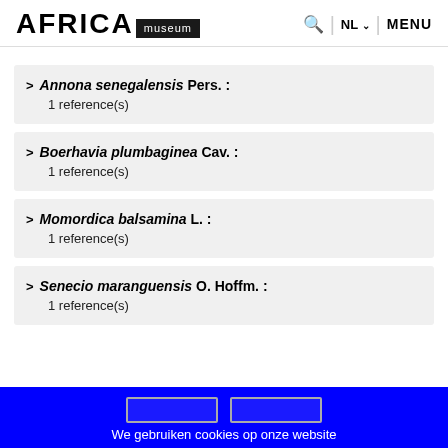AFRICA museum | NL | MENU
Annona senegalensis Pers. : 1 reference(s)
Boerhavia plumbaginea Cav. : 1 reference(s)
Momordica balsamina L. : 1 reference(s)
Senecio maranguensis O. Hoffm. : 1 reference(s)
We gebruiken cookies op onze website